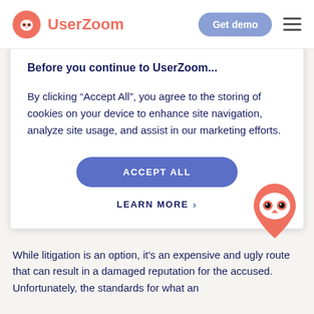UserZoom | Get demo
Before you continue to UserZoom...
By clicking “Accept All”, you agree to the storing of cookies on your device to enhance site navigation, analyze site usage, and assist in our marketing efforts.
ACCEPT ALL
LEARN MORE ›
[Figure (illustration): UserZoom owl mascot logo in orange/red drop-pin shape with white owl face, two black eyes]
While litigation is an option, it’s an expensive and ugly route that can result in a damaged reputation for the accused. Unfortunately, the standards for what an